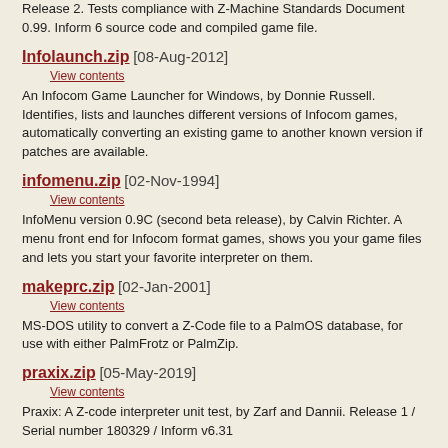Release 2. Tests compliance with Z-Machine Standards Document 0.99. Inform 6 source code and compiled game file.
Infolaunch.zip [08-Aug-2012]
View contents
An Infocom Game Launcher for Windows, by Donnie Russell. Identifies, lists and launches different versions of Infocom games, automatically converting an existing game to another known version if patches are available.
infomenu.zip [02-Nov-1994]
View contents
InfoMenu version 0.9C (second beta release), by Calvin Richter. A menu front end for Infocom format games, shows you your game files and lets you start your favorite interpreter on them.
makeprc.zip [02-Jan-2001]
View contents
MS-DOS utility to convert a Z-Code file to a PalmOS database, for use with either PalmFrotz or PalmZip.
praxix.zip [05-May-2019]
View contents
Praxix: A Z-code interpreter unit test, by Zarf and Dannii. Release 1 / Serial number 180329 / Inform v6.31